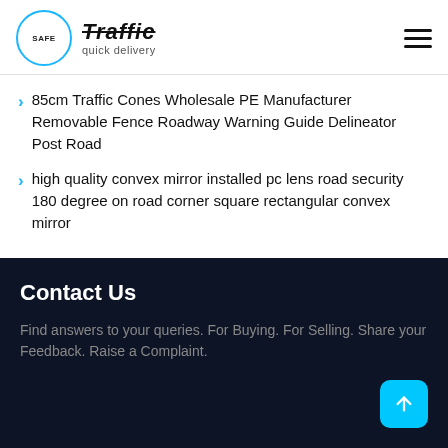SAFE Traffic quick delivery
85cm Traffic Cones Wholesale PE Manufacturer Removable Fence Roadway Warning Guide Delineator Post Road
high quality convex mirror installed pc lens road security 180 degree on road corner square rectangular convex mirror
Contact Us
Find answers to your queries. For Buying. For Selling. Share your Feedback. Raise a Complaint.